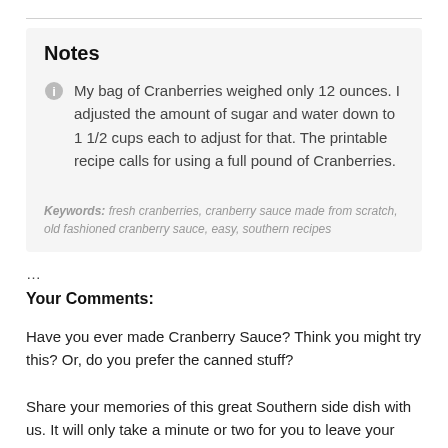Notes
My bag of Cranberries weighed only 12 ounces. I adjusted the amount of sugar and water down to 1 1/2 cups each to adjust for that. The printable recipe calls for using a full pound of Cranberries.
Keywords: fresh cranberries, cranberry sauce made from scratch, old fashioned cranberry sauce, easy, southern recipes
…
Your Comments:
Have you ever made Cranberry Sauce? Think you might try this? Or, do you prefer the canned stuff?
Share your memories of this great Southern side dish with us. It will only take a minute or two for you to leave your comments in the